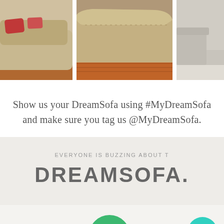[Figure (photo): Three sofa/couch photos side by side: left shows a beige sofa with red pillows on wood floor, center shows close-up of a beige sofa arm on wood floor, right shows a partial sofa/room view on light floor.]
Show us your DreamSofa using #MyDreamSofa and make sure you tag us @MyDreamSofa.
EVERYONE IS BUZZING ABOUT T
DREAMSOFA.
[Figure (other): Bottom section with a green circle showing '50' and a teal chat/messaging button in the bottom right corner.]